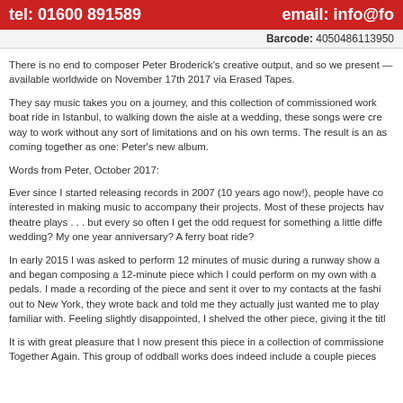tel: 01600 891589    email: info@fo
Barcode: 4050486113950
There is no end to composer Peter Broderick's creative output, and so we present — available worldwide on November 17th 2017 via Erased Tapes.
They say music takes you on a journey, and this collection of commissioned work boat ride in Istanbul, to walking down the aisle at a wedding, these songs were cre way to work without any sort of limitations and on his own terms. The result is an as coming together as one: Peter's new album.
Words from Peter, October 2017:
Ever since I started releasing records in 2007 (10 years ago now!), people have co interested in making music to accompany their projects. Most of these projects hav theatre plays . . . but every so often I get the odd request for something a little diffe wedding? My one year anniversary? A ferry boat ride?
In early 2015 I was asked to perform 12 minutes of music during a runway show a and began composing a 12-minute piece which I could perform on my own with a pedals. I made a recording of the piece and sent it over to my contacts at the fashi out to New York, they wrote back and told me they actually just wanted me to play familiar with. Feeling slightly disappointed, I shelved the other piece, giving it the titl
It is with great pleasure that I now present this piece in a collection of commissione Together Again. This group of oddball works does indeed include a couple pieces